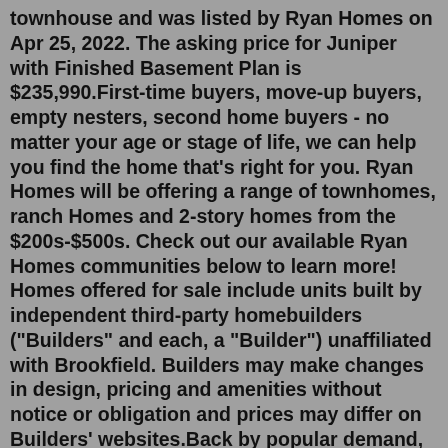townhouse and was listed by Ryan Homes on Apr 25, 2022. The asking price for Juniper with Finished Basement Plan is $235,990.First-time buyers, move-up buyers, empty nesters, second home buyers - no matter your age or stage of life, we can help you find the home that's right for you. Ryan Homes will be offering a range of townhomes, ranch Homes and 2-story homes from the $200s-$500s. Check out our available Ryan Homes communities below to learn more! Homes offered for sale include units built by independent third-party homebuilders ("Builders" and each, a "Builder") unaffiliated with Brookfield. Builders may make changes in design, pricing and amenities without notice or obligation and prices may differ on Builders' websites.Back by popular demand, M/I Homes is excited to be building in the city of Aurora, Illinois! Gramercy Square is a low-maintenance new construction townhome community in a highly desirable location. Straddling the border of Aurora and Naperville, Gramercy Square sits on